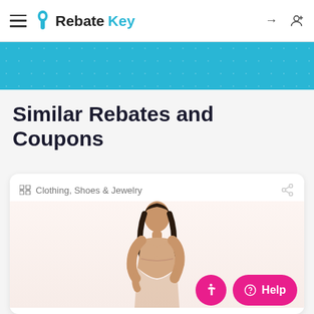RebateKey
Similar Rebates and Coupons
Clothing, Shoes & Jewelry
[Figure (photo): Woman modeling a nude/beige strapless bra or shapewear top, shown from the waist up against a white background]
Help